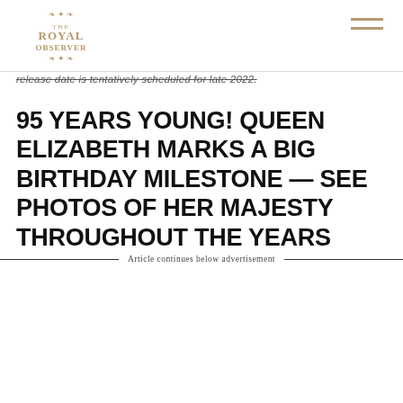The Royal Observer
release date is tentatively scheduled for late 2022.
95 YEARS YOUNG! QUEEN ELIZABETH MARKS A BIG BIRTHDAY MILESTONE — SEE PHOTOS OF HER MAJESTY THROUGHOUT THE YEARS
Article continues below advertisement